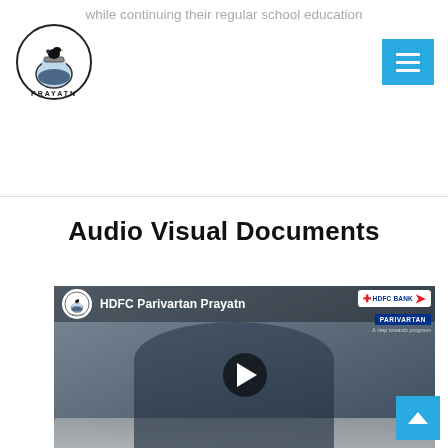while continuing their regular school education
[Figure (logo): Prayatn organization logo — a bird on a jar with the text PRAYATN below, circular border]
[Figure (screenshot): Blue hamburger/menu button icon (three white horizontal lines on cyan/blue background)]
Audio Visual Documents
[Figure (screenshot): YouTube video thumbnail showing a man in a blue blazer sitting on a sofa; video title reads 'HDFC Parivartan Prayatn'; HDFC Bank Parivartan logo visible in top right; Prayatn circular logo visible top left; play button overlay in center]